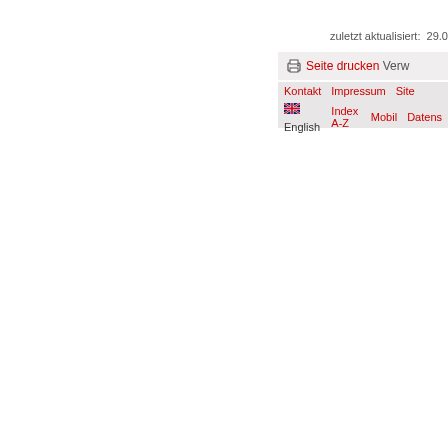zuletzt aktualisiert:  29.0
Seite drucken Verw
Kontakt   Impressum   Site